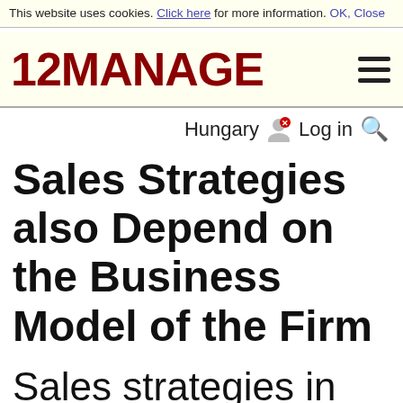This website uses cookies. Click here for more information. OK, Close
[Figure (logo): 12MANAGE logo with hamburger menu icon]
Hungary  Log in 🔍
Sales Strategies also Depend on the Business Model of the Firm
Sales strategies in the airline industry